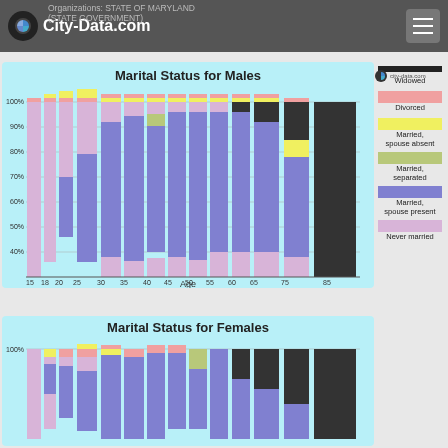City-Data.com — Organizations: STATE OF MARYLAND (STATE GOVERNMENT)
[Figure (stacked-bar-chart): Stacked bar chart showing marital status percentages for males by age group from 15 to 85+]
[Figure (stacked-bar-chart): Stacked bar chart showing marital status percentages for females by age group from 15 to 85+ (partially visible)]